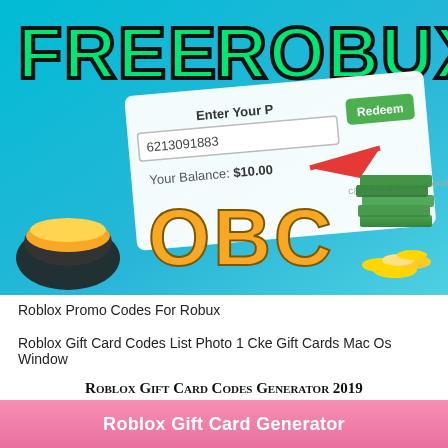[Figure (infographic): Roblox-themed promotional image with bright blue/cyan gradient background. Large bold green outlined text 'FREE ROBUX' at top. Shows a screenshot of a gift card redemption interface with code '6213091883', 'Your Balance: $10.00', a red arrow pointing right, a green 'Redeem' button, and partial text 'Enter Your P...' and 'card? Buy them at one of the pa'. Large orange bold text 'OBC' in center. Gold/black hard hat on left, stacks of green money bills and gold coins on right.]
Roblox Promo Codes For Robux
Roblox Gift Card Codes List Photo 1 Cke Gift Cards Mac Os Window
Roblox Gift Card Codes Generator 2019
Roblox Gift Card Generator